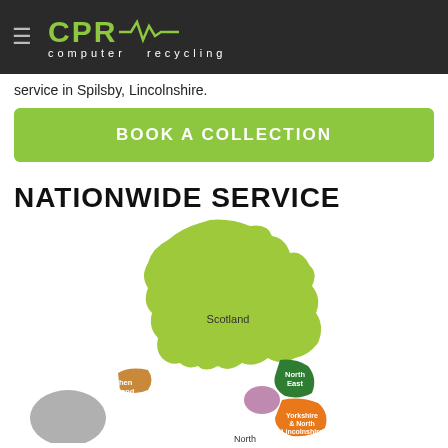CPR computer recycling
service in Spilsby, Lincolnshire.
BOOK A COLLECTION
NATIONWIDE SERVICE
[Figure (map): Map of the United Kingdom showing regional service areas in different colors: Scotland (yellow-green), North East (dark green), Northern Ireland (orange-brown), Yorkshire & North Lincolnshire (orange), and other regions partially visible including North (bottom). Ireland shown in grey.]